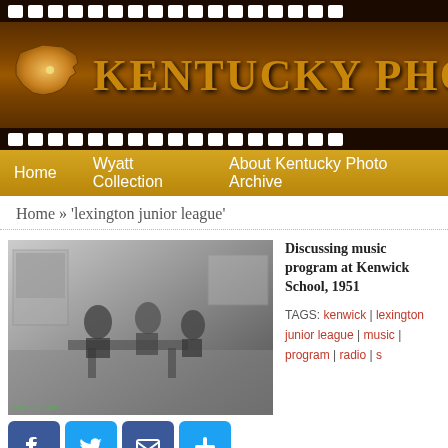[Figure (logo): Kentucky Photo Archive film strip header with Kentucky state silhouette and site title text 'KENTUCKY PHOTO']
Home   Wyatt Collection   About Kentucky Photo Archive
Home » 'lexington junior league'
[Figure (photo): Black and white photograph of people discussing music program at Kenwick School, 1951]
Discussing music program at Kenwick School, 1951
TAGS: kenwick | lexington junior league | music | program | radio | s
[Figure (infographic): Social share buttons: Facebook, Twitter, Email, Plus]
Junior League music program, 1949
TAGS: Fayette County | Lexington | lexington junior league | music |